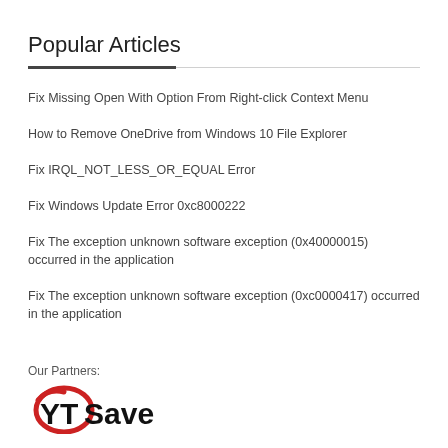Popular Articles
Fix Missing Open With Option From Right-click Context Menu
How to Remove OneDrive from Windows 10 File Explorer
Fix IRQL_NOT_LESS_OR_EQUAL Error
Fix Windows Update Error 0xc8000222
Fix The exception unknown software exception (0x40000015) occurred in the application
Fix The exception unknown software exception (0xc0000417) occurred in the application
Our Partners:
[Figure (logo): YTSave logo — bold stylized text with a red circular swoosh graphic]